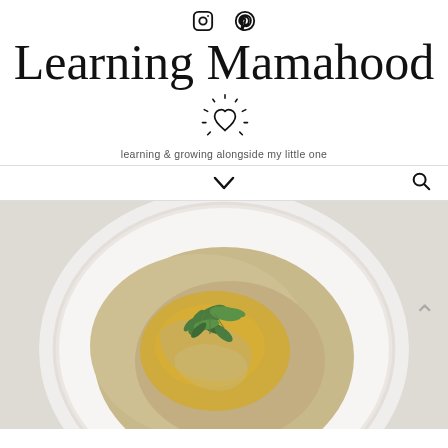[Figure (logo): Social media icons: Instagram and Pinterest]
Learning Mamahood
learning & growing alongside my little one
[Figure (other): Navigation bar with chevron dropdown and search icon]
[Figure (photo): Overhead photo of a white decorative plate with hummus drizzled with olive oil and topped with fresh cilantro leaves, on a light background. A navigation arrow is visible on the right side.]